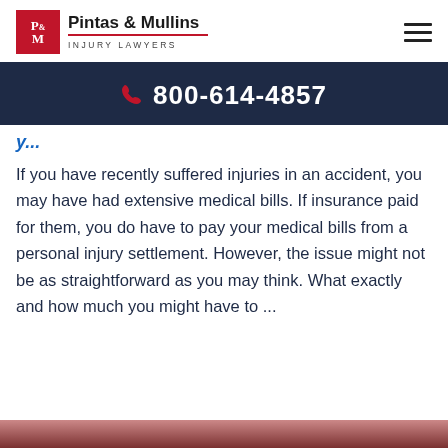Pintas & Mullins INJURY LAWYERS
800-614-4857
If you have recently suffered injuries in an accident, you may have had extensive medical bills. If insurance paid for them, you do have to pay your medical bills from a personal injury settlement. However, the issue might not be as straightforward as you may think. What exactly and how much you might have to ...
[Figure (photo): Bottom partial image of a person, cropped at bottom of page]